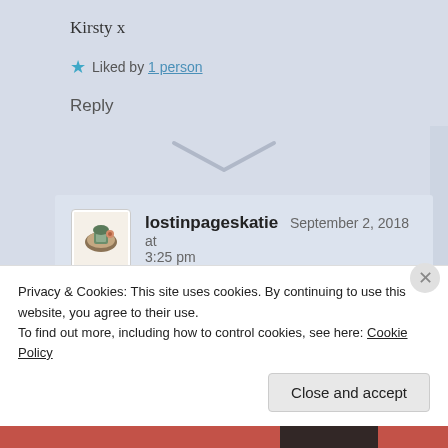Kirsty x
★ Liked by 1 person
Reply
lostinpageskatie  September 2, 2018 at 3:25 pm
I've only had Fairyloot for like 3-4 months, but I really enjoy the boxes! Thank you 💕
Privacy & Cookies: This site uses cookies. By continuing to use this website, you agree to their use.
To find out more, including how to control cookies, see here: Cookie Policy
Close and accept